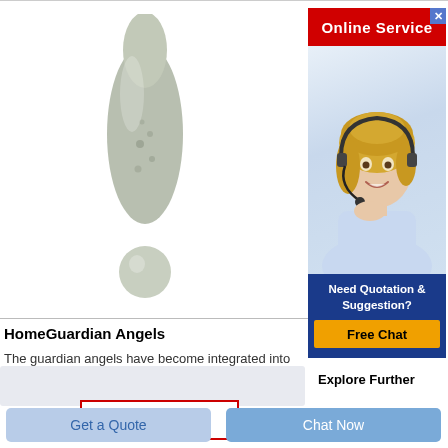[Figure (photo): Product photo of a HomeGuardian Angel figurine — an elongated bullet/droplet-shaped sculpture with a small sphere at the base, pale green-gray color]
HomeGuardian Angels
The guardian angels have become integrated into the fabric of the
[Figure (other): Get Price button — red outlined rectangle with red bold text 'Get Price']
[Figure (screenshot): Online Service widget: red banner with 'Online Service' text and close X button, photo of blonde woman with headset smiling, dark blue panel with 'Need Quotation & Suggestion?' text and orange 'Free Chat' button]
Explore Further
[Figure (other): Gray shaded input/search area]
Get a Quote
Chat Now